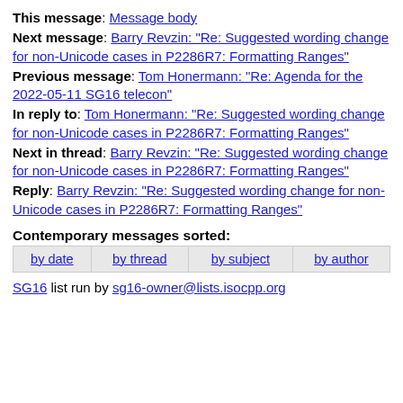This message: Message body
Next message: Barry Revzin: "Re: Suggested wording change for non-Unicode cases in P2286R7: Formatting Ranges"
Previous message: Tom Honermann: "Re: Agenda for the 2022-05-11 SG16 telecon"
In reply to: Tom Honermann: "Re: Suggested wording change for non-Unicode cases in P2286R7: Formatting Ranges"
Next in thread: Barry Revzin: "Re: Suggested wording change for non-Unicode cases in P2286R7: Formatting Ranges"
Reply: Barry Revzin: "Re: Suggested wording change for non-Unicode cases in P2286R7: Formatting Ranges"
Contemporary messages sorted:
| by date | by thread | by subject | by author |
| --- | --- | --- | --- |
SG16 list run by sg16-owner@lists.isocpp.org